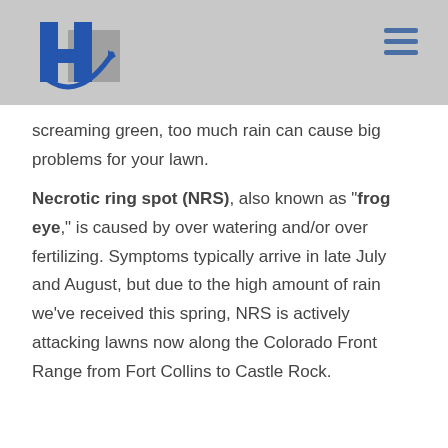[Figure (logo): Company logo with blue H letter and swoosh, with gray block]
screaming green, too much rain can cause big problems for your lawn.
Necrotic ring spot (NRS), also known as "frog eye," is caused by over watering and/or over fertilizing. Symptoms typically arrive in late July and August, but due to the high amount of rain we've received this spring, NRS is actively attacking lawns now along the Colorado Front Range from Fort Collins to Castle Rock.